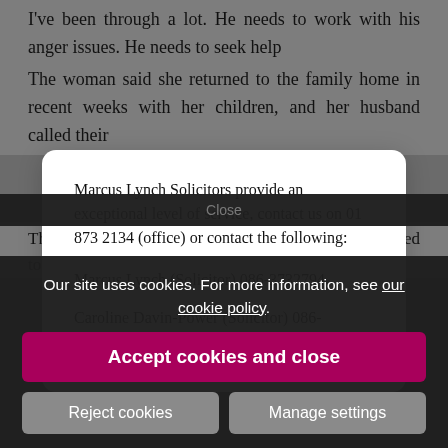I've been through a lot. He needs to work with his anger issues. He needs to seek help
The woman said she returned to the family home in recent weeks with her children, and her husband called their
Marcus Lynch Solicitors provide an exceptional level of service, contact us on 01 873 2134 (office) or contact the following:
Marcus Lynch (Solicitor) 086-3732794
Caroline Davin-Power (Solicitor) 086-0824445
Our site uses cookies. For more information, see our cookie policy.
Accept cookies and close
Reject cookies
Manage settings
The wo... he court but con... nst her f...